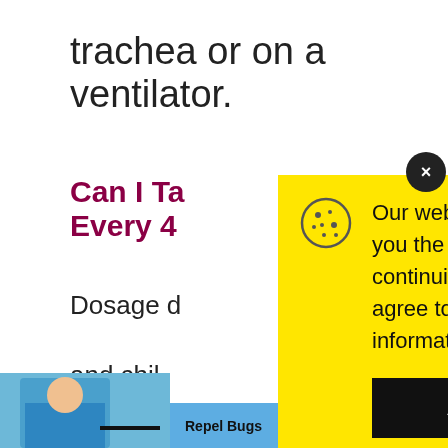trachea or on a ventilator.
Can I Ta[ke Albuterol] Every 4[…]
Dosage d[…]
and chil[d…]
albutero[l…]
bronchos[…]
[Figure (screenshot): Cookie consent modal overlay on a yellow (#FFE600) background. Contains cookie icon, text: 'Our website uses cookies to provide you the best experience. However, by continuing to use our website, you agree to our use of cookies. For more information, read our Cookie Policy.' with an Accept button and an X close button.]
[Figure (photo): Bottom of page shows partial image of a person in blue shirt with an arrow pointing at them, and a banner reading 'Repel Bugs insect shield']